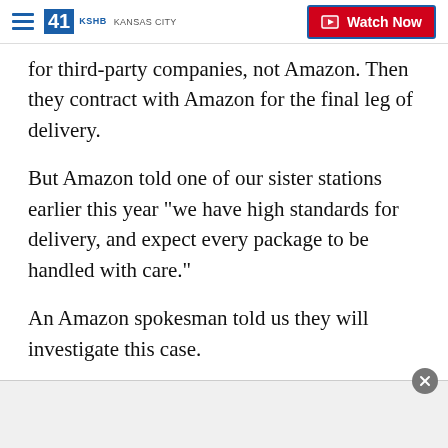41 KSHB KANSAS CITY | Watch Now
for third-party companies, not Amazon. Then they contract with Amazon for the final leg of delivery.
But Amazon told one of our sister stations earlier this year "we have high standards for delivery, and expect every package to be handled with care."
An Amazon spokesman told us they will investigate this case.
Christa Thomas says they need to take a look. "It's highly concerning, had it been fragile and someone